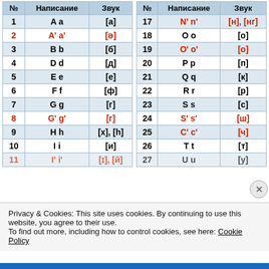| № | Написание | Звук |
| --- | --- | --- |
| 1 | A a | [а] |
| 2 | А' а' | [ə] |
| 3 | B b | [б] |
| 4 | D d | [д] |
| 5 | E e | [е] |
| 6 | F f | [ф] |
| 7 | G g | [г] |
| 8 | G' g' | [г] |
| 9 | H h | [х], [h] |
| 10 | I i | [и] |
| 11 | I' i' | [ɪ], [й] |
| № | Написание | Звук |
| --- | --- | --- |
| 17 | N' n' | [н], [нг] |
| 18 | O o | [о] |
| 19 | О' о' | [о] |
| 20 | P p | [п] |
| 21 | Q q | [к] |
| 22 | R r | [р] |
| 23 | S s | [с] |
| 24 | S' s' | [ш] |
| 25 | С' с' | [ч] |
| 26 | T t | [т] |
| 27 | U u | [у] |
Privacy & Cookies: This site uses cookies. By continuing to use this website, you agree to their use.
To find out more, including how to control cookies, see here: Cookie Policy